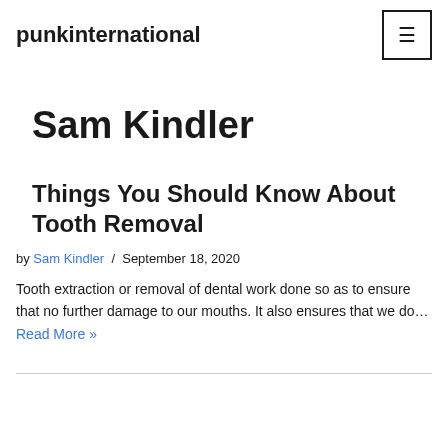punkinternational
Sam Kindler
Things You Should Know About Tooth Removal
by Sam Kindler / September 18, 2020
Tooth extraction or removal of dental work done so as to ensure that no further damage to our mouths. It also ensures that we do… Read More »